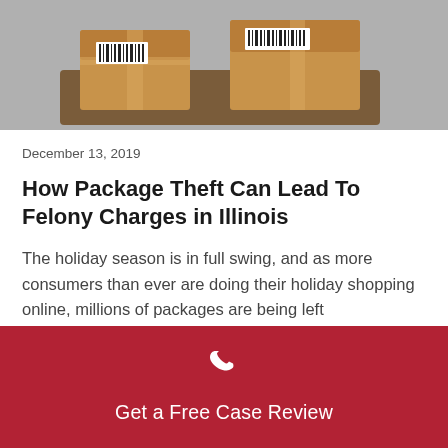[Figure (photo): Photo of brown cardboard boxes with barcodes sitting on a doormat]
December 13, 2019
How Package Theft Can Lead To Felony Charges in Illinois
The holiday season is in full swing, and as more consumers than ever are doing their holiday shopping online, millions of packages are being left
Criminal Law, Juvenile Crime, Law
Get a Free Case Review